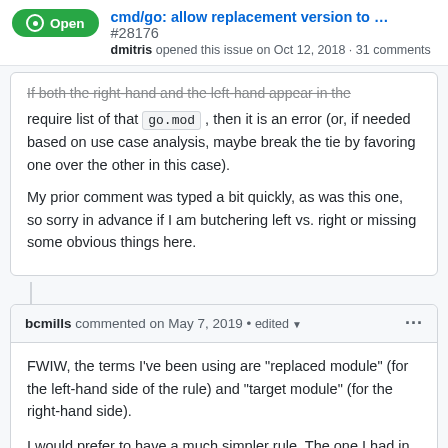cmd/go: allow replacement version to ... #28176
dmitris opened this issue on Oct 12, 2018 · 31 comments
If both the right-hand and the left-hand appear in the require list of that go.mod , then it is an error (or, if needed based on use case analysis, maybe break the tie by favoring one over the other in this case).
My prior comment was typed a bit quickly, as was this one, so sorry in advance if I am butchering left vs. right or missing some obvious things here.
bcmills commented on May 7, 2019 • edited
FWIW, the terms I've been using are “replaced module” (for the left-hand side of the rule) and “target module” (for the right-hand side).
I would prefer to have a much simpler rule. The one I had in mind is: